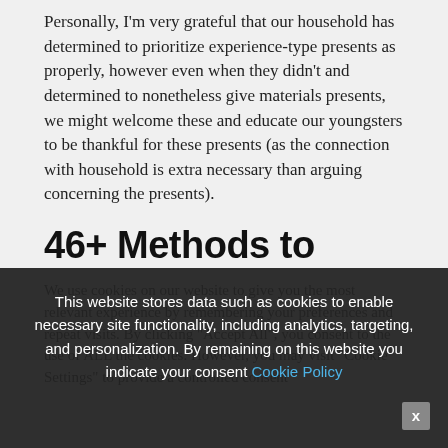Personally, I'm very grateful that our household has determined to prioritize experience-type presents as properly, however even when they didn't and determined to nonetheless give materials presents, we might welcome these and educate our youngsters to be thankful for these presents (as the connection with household is extra necessary than arguing concerning the presents).
46+ Methods to Give
We use cookies on our website to give you the most relevant experience by remembering your preferences and repeat visits. By clicking "Accept All", you consent to the use of ALL the cookies. However, you may visit "Cookie Settings" to provide a controlled consent
This website stores data such as cookies to enable necessary site functionality, including analytics, targeting, and personalization. By remaining on this website you indicate your consent Cookie Policy